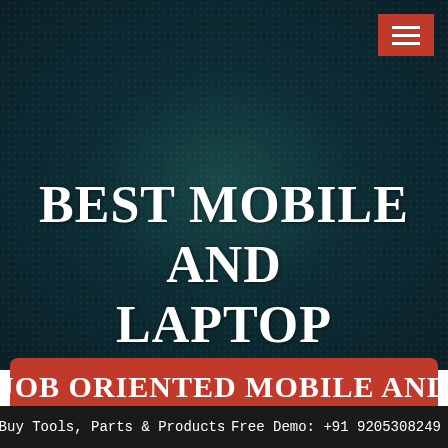[Figure (screenshot): Dark teal textured background with dot pattern for a mobile/laptop repair institute website hero section]
BEST MOBILE AND LAPTOP REPAIRING INSTITUTE IN HARI NAGAR
JOB ORIENTED MOBILE AND
Buy Tools, Parts & Products   Free Demo: +91 9205308249